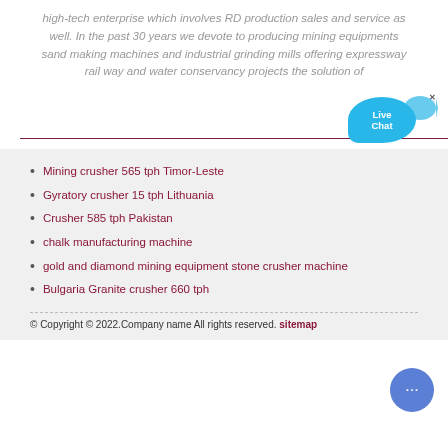high-tech enterprise which involves RD production sales and service as well. In the past 30 years we devote to producing mining equipments sand making machines and industrial grinding mills offering expressway rail way and water conservancy projects the solution of
[Figure (other): Live Chat widget bubble in blue with fish shape, and a horizontal dark red divider line]
Mining crusher 565 tph Timor-Leste
Gyratory crusher 15 tph Lithuania
Crusher 585 tph Pakistan
chalk manufacturing machine
gold and diamond mining equipment stone crusher machine
Bulgaria Granite crusher 660 tph
© Copyright © 2022.Company name All rights reserved. sitemap